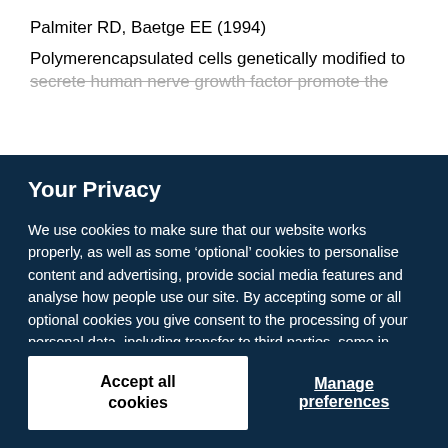Palmiter RD, Baetge EE (1994)
Polymerencapsulated cells genetically modified to secrete human nerve growth factor promote the
Your Privacy
We use cookies to make sure that our website works properly, as well as some ‘optional’ cookies to personalise content and advertising, provide social media features and analyse how people use our site. By accepting some or all optional cookies you give consent to the processing of your personal data, including transfer to third parties, some in countries outside of the European Economic Area that do not offer the same data protection standards as the country where you live. You can decide which optional cookies to accept by clicking on ‘Manage Settings’, where you can also find more information about how your personal data is processed. Further information can be found in our privacy policy.
Accept all cookies
Manage preferences